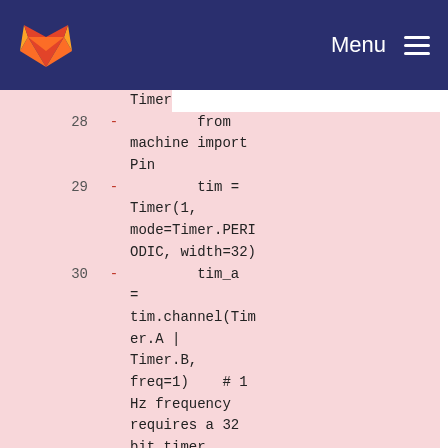[Figure (screenshot): GitLab navigation bar with orange/red fox logo on left and Menu with hamburger icon on right, dark navy blue background]
Code diff view showing removed lines (pink background) with line numbers 28-32:
28 -        from machine import Pin
29 -        tim = Timer(1, mode=Timer.PERIODIC, width=32)
30 -        tim_a = tim.channel(Timer.A | Timer.B, freq=1)    # 1 Hz frequency requires a 32 bit timer
31 -
32 -        led = Pin('GP16',